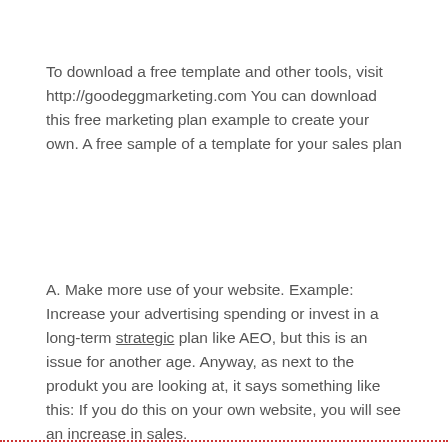To download a free template and other tools, visit http://goodeggmarketing.com You can download this free marketing plan example to create your own. A free sample of a template for your sales plan
A. Make more use of your website. Example: Increase your advertising spending or invest in a long-term strategic plan like AEO, but this is an issue for another age. Anyway, as next to the produkt you are looking at, it says something like this: If you do this on your own website, you will see an increase in sales.